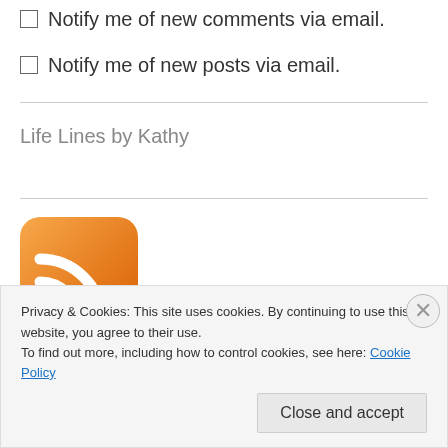Notify me of new comments via email.
Notify me of new posts via email.
Life Lines by Kathy
[Figure (logo): RSS feed orange square icon with white wifi/feed signal symbol]
Privacy & Cookies: This site uses cookies. By continuing to use this website, you agree to their use. To find out more, including how to control cookies, see here: Cookie Policy